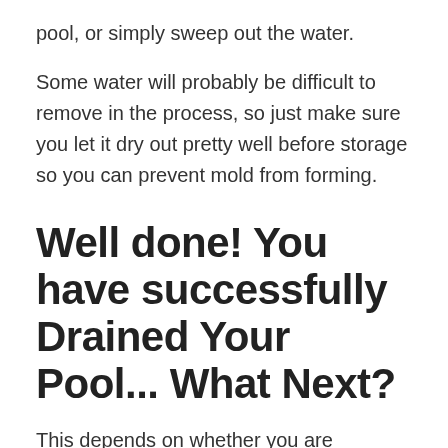pool, or simply sweep out the water.
Some water will probably be difficult to remove in the process, so just make sure you let it dry out pretty well before storage so you can prevent mold from forming.
Well done! You have successfully Drained Your Pool... What Next?
This depends on whether you are